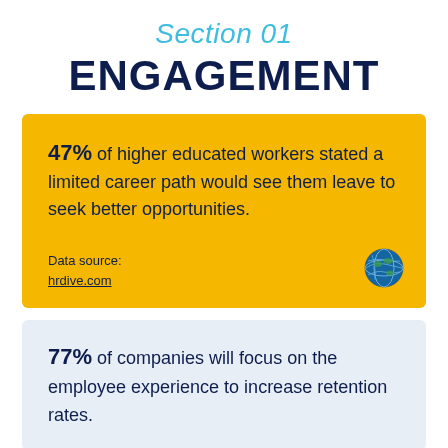Section 01
ENGAGEMENT
47% of higher educated workers stated a limited career path would see them leave to seek better opportunities.
Data source: hrdive.com
77% of companies will focus on the employee experience to increase retention rates.